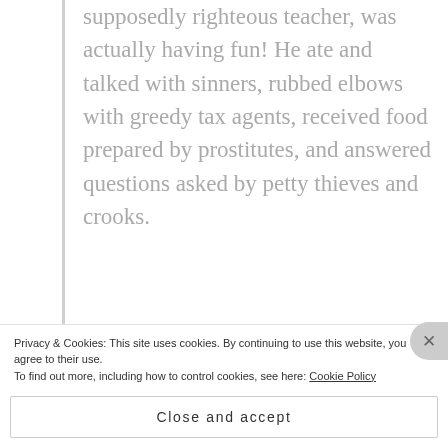supposedly righteous teacher, was actually having fun! He ate and talked with sinners, rubbed elbows with greedy tax agents, received food prepared by prostitutes, and answered questions asked by petty thieves and crooks.
Though Jesus taught occasionally in the synagogues (churches), he mostly taught as each opportunity arose in his day to day life.
Most of us will play the role of the prodigal son and
Privacy & Cookies: This site uses cookies. By continuing to use this website, you agree to their use.
To find out more, including how to control cookies, see here: Cookie Policy
Close and accept